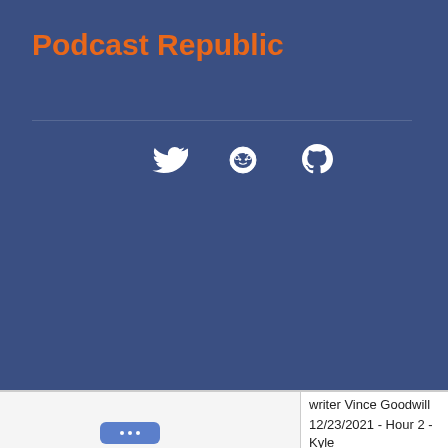Podcast Republic
[Figure (illustration): Social media icons: Twitter bird, Reddit alien, GitHub octocat, displayed in white on blue background]
writer Vince Goodwill
12/23/2021 - Hour 2 - Kyle
Greg Jennings